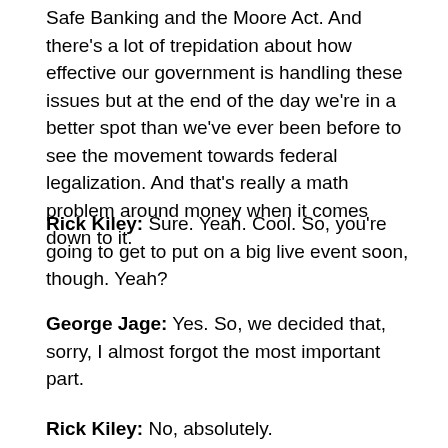Safe Banking and the Moore Act. And there's a lot of trepidation about how effective our government is handling these issues but at the end of the day we're in a better spot than we've ever been before to see the movement towards federal legalization. And that's really a math problem around money when it comes down to it.
Rick Kiley: Sure. Yeah. Cool. So, you're going to get to put on a big live event soon, though. Yeah?
George Jage: Yes. So, we decided that, sorry, I almost forgot the most important part.
Rick Kiley: No, absolutely.